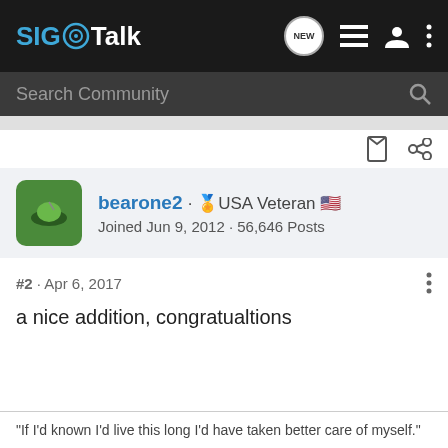SIG Talk
Search Community
bearone2 · 🏅USA Veteran 🇺🇸
Joined Jun 9, 2012 · 56,646 Posts
#2 · Apr 6, 2017
a nice addition, congratualtions
"If I'd known I'd live this long I'd have taken better care of myself."